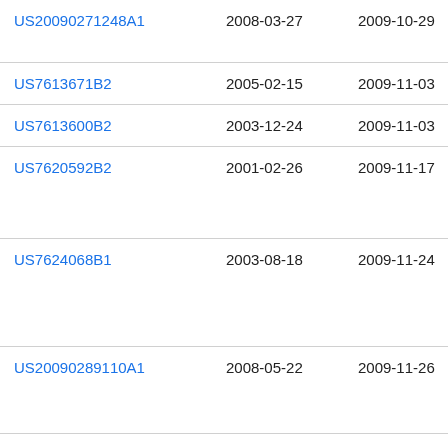| Patent | Filing Date | Publication Date | Description |
| --- | --- | --- | --- |
| US20090271248A1 | 2008-03-27 | 2009-10-29 | Exp Sol |
| US7613671B2 | 2005-02-15 | 2009-11-03 | Fai |
| US7613600B2 | 2003-12-24 | 2009-11-03 | Sap |
| US7620592B2 | 2001-02-26 | 2009-11-17 | Firs |
| US7624068B1 | 2003-08-18 | 2009-11-24 | Jpn N.A |
| US20090289110A1 | 2008-05-22 | 2009-11-26 | Pat |
| US7630932B2 | 2002-01-31 | 2009-12-08 | Tra Inc |